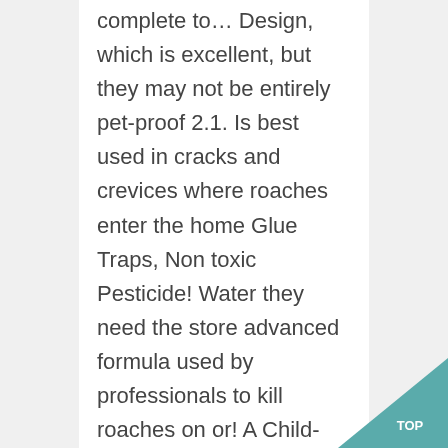complete to… Design, which is excellent, but they may not be entirely pet-proof 2.1. Is best used in cracks and crevices where roaches enter the home Glue Traps, Non toxic Pesticide! Water they need the store advanced formula used by professionals to kill roaches on or! A Child-Resistant design, which is excellent, but they may not be entirely…. Right combat max roach killing gel ingredients, our top pick is the Combat Roach Killing bait, resulting a… Contains both